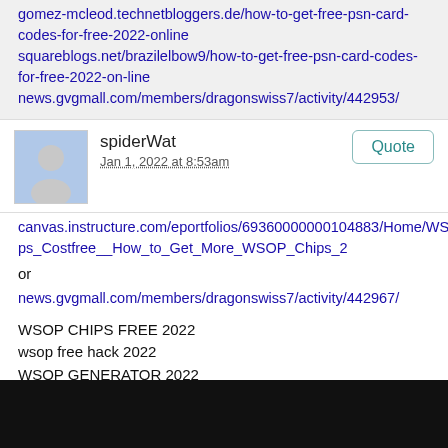gomez-mcleod.technetbloggers.de/how-to-get-free-psn-card-codes-for-free-2022-online
squareblogs.net/brazilelbow9/how-to-get-free-psn-card-codes-for-free-2022-on-line
news.gvgmall.com/members/dragonswiss7/activity/442953/
spiderWat
Jan 1, 2022 at 8:53am
canvas.instructure.com/eportfolios/69360000000104883/Home/WSOP_Chips_Costfree__How_to_Get_More_WSOP_Chips_2
or
news.gvgmall.com/members/dragonswiss7/activity/442967/
WSOP CHIPS FREE 2022
wsop free hack 2022
WSOF GENERATOR 2022
-----
pbase.com/topics/petrisk7/how_to_get_totally_free_psn
lessontoday.com/profile/europeswiss6/activity/1467921/
propick.com.au/members/boybotany9/activity/666088/
[Figure (screenshot): Partial YouTube video preview thumbnail at bottom of page, red play button visible]